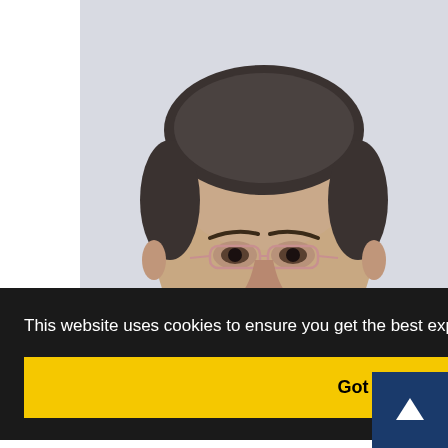[Figure (photo): Headshot portrait of a middle-aged man with dark grey hair, wearing rimless glasses and a dark jacket, against a light grey/white background. The photo is cropped to show the head and upper shoulders.]
This website uses cookies to ensure you get the best experience on our website.
Got it!
Generalized Baer invariants; Variety of groups